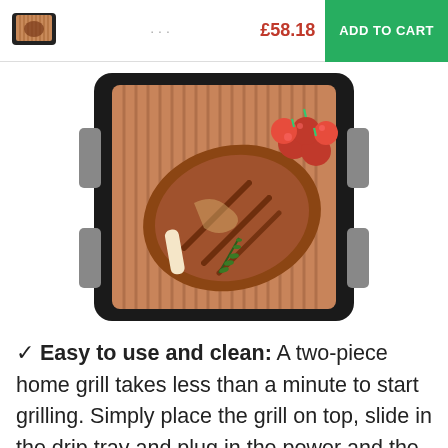[Figure (screenshot): E-commerce header bar with thumbnail image of grill, price £58.18 in red, and green ADD TO CART button]
[Figure (photo): Electric indoor grill with copper grill grates, steak, tomatoes, and rosemary herb on top, viewed from above]
✓ Easy to use and clean: A two-piece home grill takes less than a minute to start grilling. Simply place the grill on top, slide in the drip tray and plug in the power and the grill is